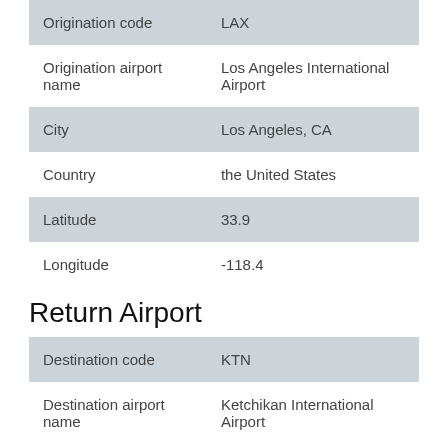| Field | Value |
| --- | --- |
| Origination code | LAX |
| Origination airport name | Los Angeles International Airport |
| City | Los Angeles, CA |
| Country | the United States |
| Latitude | 33.9 |
| Longitude | -118.4 |
Return Airport
| Field | Value |
| --- | --- |
| Destination code | KTN |
| Destination airport name | Ketchikan International Airport |